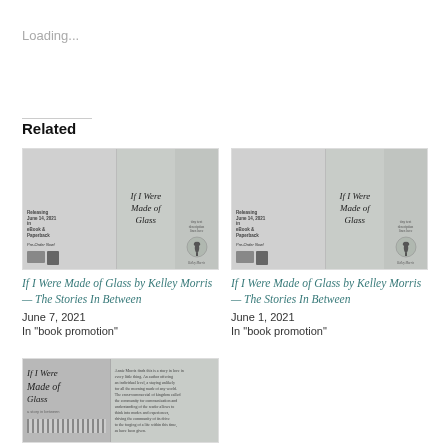Loading...
Related
[Figure (illustration): Book promotion image for 'If I Were Made of Glass by Kelley Morris' showing piano keys, book cover, and device mockups]
If I Were Made of Glass by Kelley Morris — The Stories In Between
June 7, 2021
In "book promotion"
[Figure (illustration): Book promotion image for 'If I Were Made of Glass by Kelley Morris' showing piano keys, book cover, and device mockups]
If I Were Made of Glass by Kelley Morris — The Stories In Between
June 1, 2021
In "book promotion"
[Figure (illustration): Book cover/promotion image for 'If I Were Made of Glass' showing book title text and piano keys]